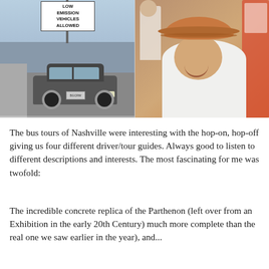[Figure (photo): Two side-by-side photos. Left: A road scene with a sign reading 'LOW EMISSION VEHICLES ALLOWED' and a car in traffic. Right: A person smiling and wearing a brown cowboy hat and white tank top, standing inside what appears to be a souvenir shop.]
The bus tours of Nashville were interesting with the hop-on, hop-off giving us four different driver/tour guides. Always good to listen to different descriptions and interests. The most fascinating for me was twofold:
The incredible concrete replica of the Parthenon (left over from an Exhibition in the early 20th Century) much more complete than the real one we saw earlier in the year), and...